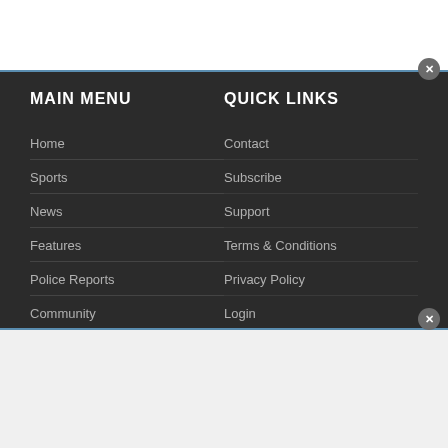MAIN MENU
QUICK LINKS
Home
Contact
Sports
Subscribe
News
Support
Features
Terms & Conditions
Police Reports
Privacy Policy
Community
Login